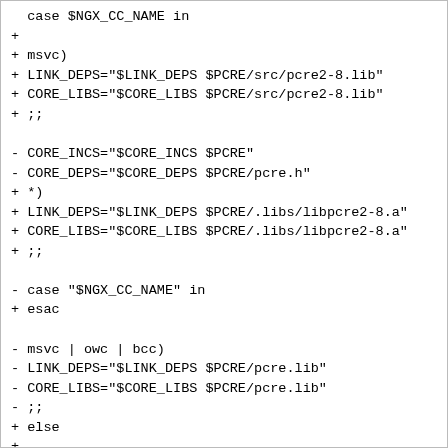case $NGX_CC_NAME in
+
+ msvc)
+ LINK_DEPS="$LINK_DEPS $PCRE/src/pcre2-8.lib"
+ CORE_LIBS="$CORE_LIBS $PCRE/src/pcre2-8.lib"
+ ;;

- CORE_INCS="$CORE_INCS $PCRE"
- CORE_DEPS="$CORE_DEPS $PCRE/pcre.h"
+ *)
+ LINK_DEPS="$LINK_DEPS $PCRE/.libs/libpcre2-8.a"
+ CORE_LIBS="$CORE_LIBS $PCRE/.libs/libpcre2-8.a"
+ ;;

- case "$NGX_CC_NAME" in
+ esac

- msvc | owc | bcc)
- LINK_DEPS="$LINK_DEPS $PCRE/pcre.lib"
- CORE_LIBS="$CORE_LIBS $PCRE/pcre.lib"
- ;;
+ else
+
+ PCRE_LIBRARY=PCRE